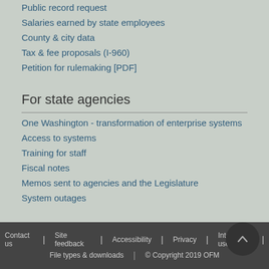Public record request
Salaries earned by state employees
County & city data
Tax & fee proposals (I-960)
Petition for rulemaking [PDF]
For state agencies
One Washington - transformation of enterprise systems
Access to systems
Training for staff
Fiscal notes
Memos sent to agencies and the Legislature
System outages
Contact us | Site feedback | Accessibility | Privacy | Intended use | File types & downloads | © Copyright 2019 OFM